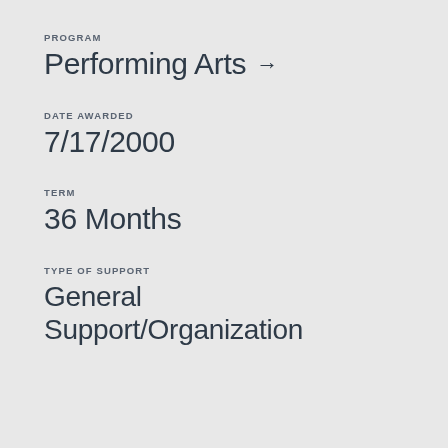PROGRAM
Performing Arts →
DATE AWARDED
7/17/2000
TERM
36 Months
TYPE OF SUPPORT
General Support/Organization